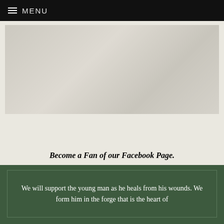MENU
[Figure (photo): A large light gray image placeholder area with subtle gradient tones]
Become a Fan of our Facebook Page.
We will support the young man as he heals from his wounds. We form him in the forge that is the heart of